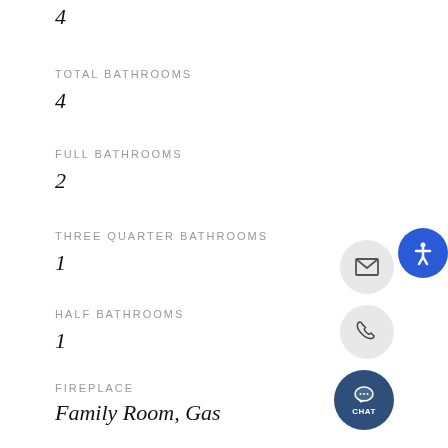4
TOTAL BATHROOMS
4
FULL BATHROOMS
2
THREE QUARTER BATHROOMS
1
HALF BATHROOMS
1
FIREPLACE
Family Room, Gas
APPLIANCES
Range, Microwave, Dishwasher,